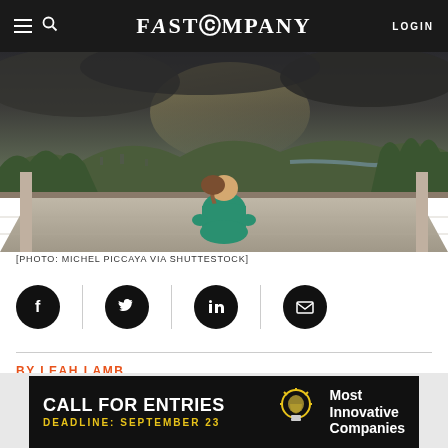FAST COMPANY | LOGIN
[Figure (photo): Woman in teal/green clothing sitting cross-legged on a rooftop terrace, viewed from behind, overlooking a tropical city skyline with green hills and a river in the background under a dramatic stormy sky.]
[PHOTO: MICHEL PICCAYA VIA SHUTTESTOCK]
[Figure (infographic): Social sharing icons row: Facebook, Twitter, LinkedIn, Email — black circles with white icons, separated by vertical dividers]
BY LEAH LAMB
3 MINUTE READ
[Figure (infographic): Advertisement banner: CALL FOR ENTRIES / DEADLINE: SEPTEMBER 23 / Most Innovative Companies with lightbulb icon]